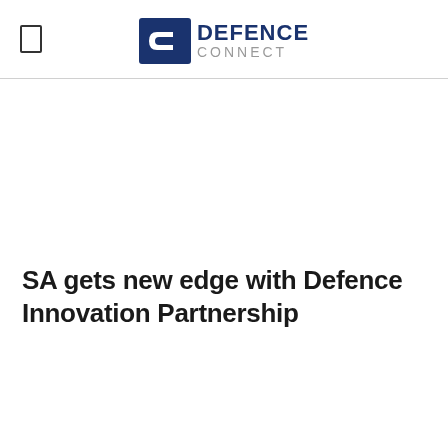DEFENCE CONNECT
SA gets new edge with Defence Innovation Partnership